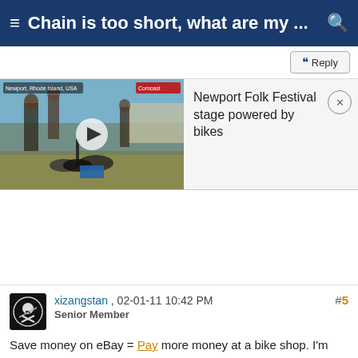Chain is too short, what are my ...
Reply
[Figure (screenshot): Video thumbnail showing people with bikes at the Newport Folk Festival, outdoor event scene]
Newport Folk Festival stage powered by bikes
xizangstan , 02-01-11 10:42 PM
Senior Member
#5
Save money on eBay = Pay more money at a bike shop. I'm sure bike shops realize that, as a lot of the shops I go to, get